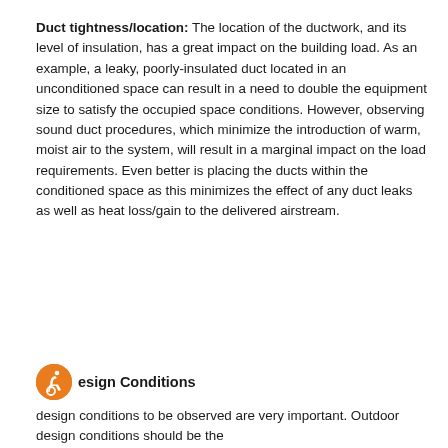Duct tightness/location: The location of the ductwork, and its level of insulation, has a great impact on the building load. As an example, a leaky, poorly-insulated duct located in an unconditioned space can result in a need to double the equipment size to satisfy the occupied space conditions. However, observing sound duct procedures, which minimize the introduction of warm, moist air to the system, will result in a marginal impact on the load requirements. Even better is placing the ducts within the conditioned space as this minimizes the effect of any duct leaks as well as heat loss/gain to the delivered airstream.
Design Conditions
design conditions to be observed are very important. Outdoor design conditions should be the